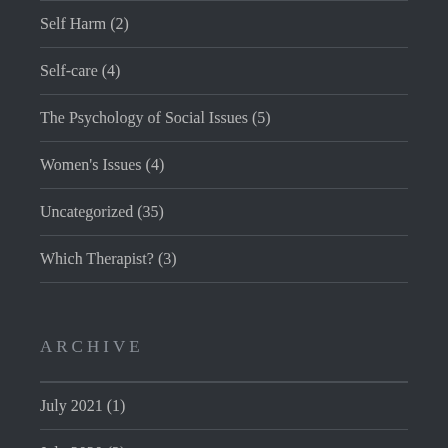Self Harm (2)
Self-care (4)
The Psychology of Social Issues (5)
Women's Issues (4)
Uncategorized (35)
Which Therapist? (3)
ARCHIVE
July 2021 (1)
July 2020 (2)